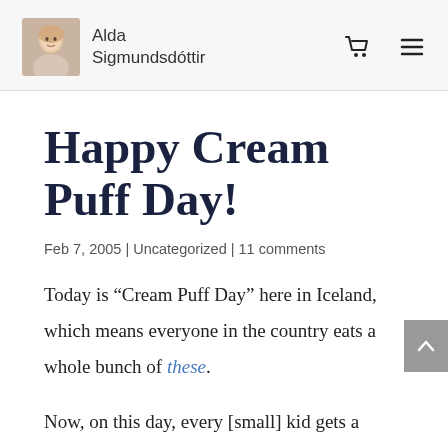Alda Sigmundsdóttir
Happy Cream Puff Day!
Feb 7, 2005 | Uncategorized | 11 comments
Today is “Cream Puff Day” here in Iceland, which means everyone in the country eats a whole bunch of these.
Now, on this day, every [small] kid gets a wand type of thing with a bunch of fluff on